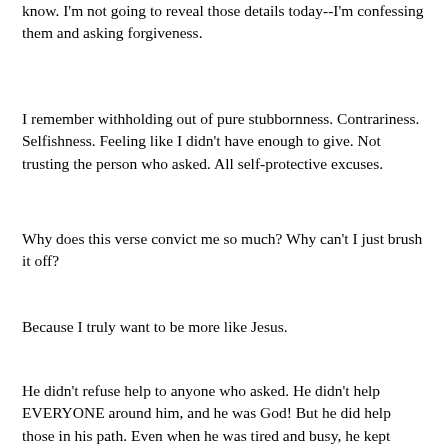know. I'm not going to reveal those details today--I'm confessing them and asking forgiveness.
I remember withholding out of pure stubbornness. Contrariness. Selfishness. Feeling like I didn't have enough to give. Not trusting the person who asked. All self-protective excuses.
Why does this verse convict me so much? Why can't I just brush it off?
Because I truly want to be more like Jesus.
He didn't refuse help to anyone who asked. He didn't help EVERYONE around him, and he was God! But he did help those in his path. Even when he was tired and busy, he kept offering